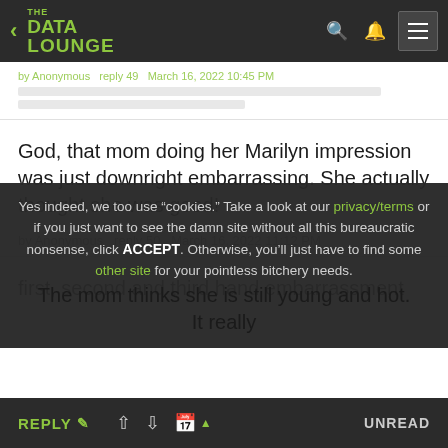THE DATA LOUNGE
by Anonymous  reply 49  March 16, 2022 10:45 PM
God, that mom doing her Marilyn impression was just downright embarrassing. She actually thought she was good!
by Anonymous  reply 50  March 16, 2022 11:12 PM
first, second and third hand embarrassment
Yes indeed, we too use "cookies." Take a look at our privacy/terms or if you just want to see the damn site without all this bureaucratic nonsense, click ACCEPT. Otherwise, you'll just have to find some other site for your pointless bitchery needs.
The mom thinks she is still young and hot. It really
REPLY  UNREAD